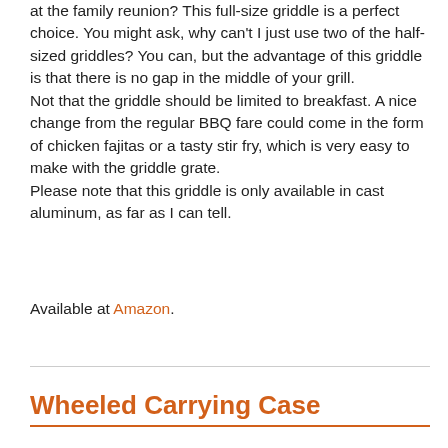at the family reunion? This full-size griddle is a perfect choice. You might ask, why can't I just use two of the half-sized griddles? You can, but the advantage of this griddle is that there is no gap in the middle of your grill.
Not that the griddle should be limited to breakfast. A nice change from the regular BBQ fare could come in the form of chicken fajitas or a tasty stir fry, which is very easy to make with the griddle grate.
Please note that this griddle is only available in cast aluminum, as far as I can tell.
Available at Amazon.
Wheeled Carrying Case